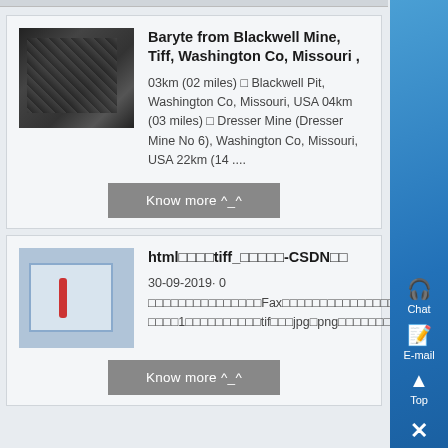[Figure (screenshot): Thumbnail of baryte mineral from Blackwell Mine, dark rocky material]
Baryte from Blackwell Mine, Tiff, Washington Co, Missouri ,
03km (02 miles) □ Blackwell Pit, Washington Co, Missouri, USA 04km (03 miles) □ Dresser Mine (Dresser Mine No 6), Washington Co, Missouri, USA 22km (14 ....
Know more ^_^
[Figure (screenshot): Thumbnail showing electrical wiring/switchboard inside a building]
html□□□□tiff_□□□□□-CSDN□□
30-09-2019· 0 □□□□□□□□□□□□□□□Fax□□□□□□□□□□□□□□□tif□□□□□□□□□□□□□□tif□□□□□□□□□□□□□□□□□tif□□□□□□□□□□□□□□□□□□1 □□□□1□□□□□□□□□□tif□□□jpg□png□□□□□□□□□□□□□□□Chrome□□□□□□□□□...
Know more ^_^